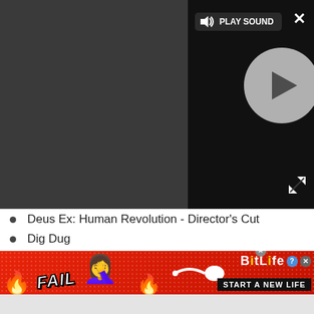[Figure (screenshot): Video player UI with play button circle and PLAY SOUND label on dark background]
Deus Ex: Human Revolution - Director's Cut
Dig Dug
DiRT 3
DiRT Showdown
Discs of Tron
Disney Bolt
Disney Epic Mickey 2: The Power of Two
Domino Master
Doom
[Figure (screenshot): BitLife advertisement banner with FAIL text and START A NEW LIFE call to action on red background]